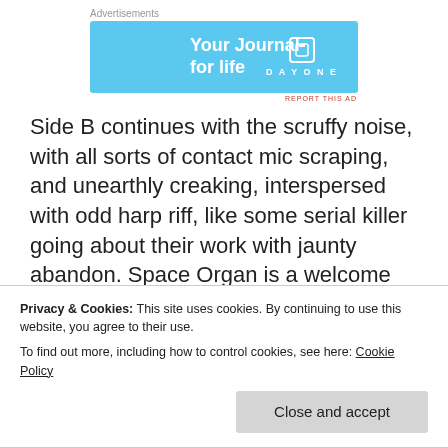Advertisements
[Figure (other): Day One app advertisement banner — 'Your Journal for life' on light blue background with app screenshot and DayOne logo]
Side B continues with the scruffy noise, with all sorts of contact mic scraping, and unearthly creaking, interspersed with odd harp riff, like some serial killer going about their work with jaunty abandon. Space Organ is a welcome interlude early on, doing exactly what it says on the tin, its combination of astral synth chords, descending
Privacy & Cookies: This site uses cookies. By continuing to use this website, you agree to their use.
To find out more, including how to control cookies, see here: Cookie Policy
orbit, shining a path through the encrusted grit